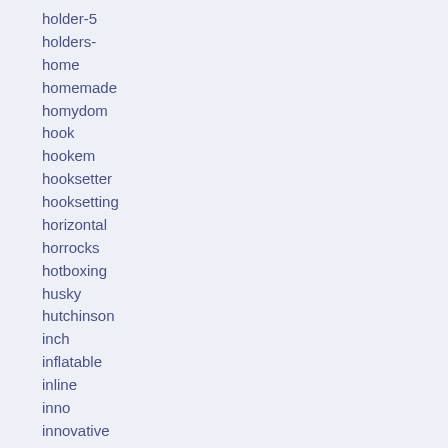holder-5
holders-
home
homemade
homydom
hook
hookem
hooksetter
hooksetting
horizontal
horrocks
hotboxing
husky
hutchinson
inch
inflatable
inline
inno
innovative
install
installing
insulated
intex
isup
jeep
junk
kahuna